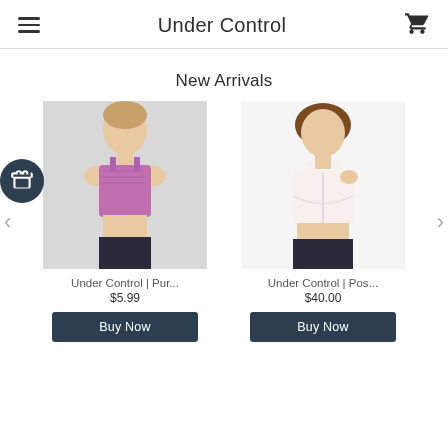Under Control
New Arrivals
[Figure (photo): Woman wearing purple/pink sports bra]
Under Control | Pur...
$5.99
[Figure (photo): Woman wearing white front-closure bra]
Under Control | Pos...
$40.00